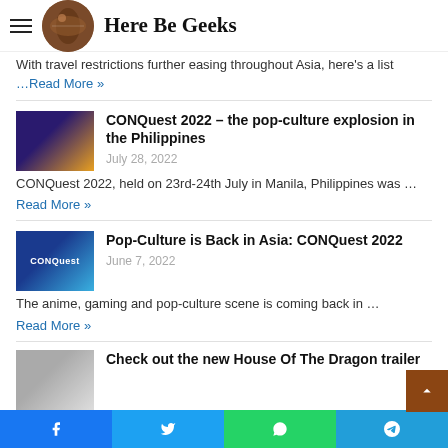Here Be Geeks
With travel restrictions further easing throughout Asia, here's a list …Read More »
CONQuest 2022 – the pop-culture explosion in the Philippines
July 28, 2022
CONQuest 2022, held on 23rd-24th July in Manila, Philippines was … Read More »
Pop-Culture is Back in Asia: CONQuest 2022
June 7, 2022
The anime, gaming and pop-culture scene is coming back in … Read More »
Check out the new House Of The Dragon trailer